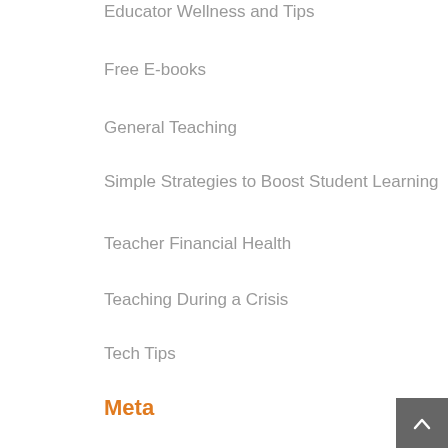Educator Wellness and Tips
Free E-books
General Teaching
Simple Strategies to Boost Student Learning
Teacher Financial Health
Teaching During a Crisis
Tech Tips
Meta
Log in
Entries feed
Comments feed
WordPress.org